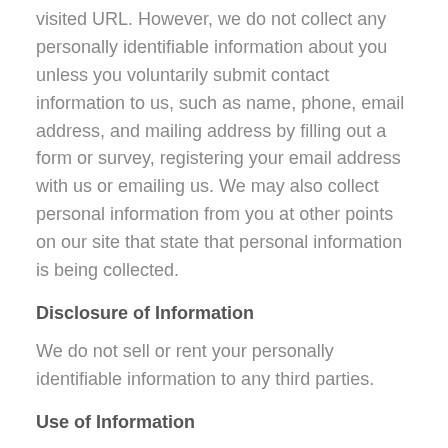visited URL. However, we do not collect any personally identifiable information about you unless you voluntarily submit contact information to us, such as name, phone, email address, and mailing address by filling out a form or survey, registering your email address with us or emailing us. We may also collect personal information from you at other points on our site that state that personal information is being collected.
Disclosure of Information
We do not sell or rent your personally identifiable information to any third parties.
Use of Information
We use personally identifiable and non-personally